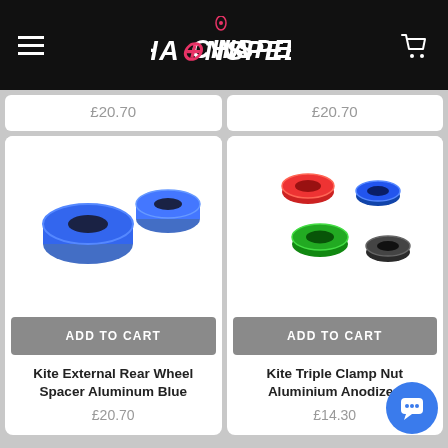Chainspeed — hamburger menu, logo, cart icon
£20.70
£20.70
[Figure (photo): Two blue anodized aluminum wheel spacers for Kite External Rear Wheel Spacer]
ADD TO CART
Kite External Rear Wheel Spacer Aluminum Blue
£20.70
[Figure (photo): Four anodized aluminum triple clamp nuts in different colors: red, blue, green, and dark/black]
ADD TO CART
Kite Triple Clamp Nut Aluminium Anodized
£14.30